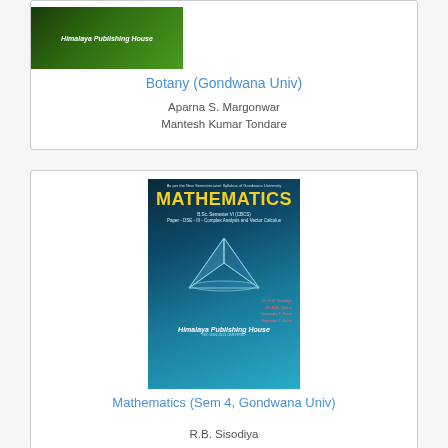[Figure (photo): Book cover of Botany (Gondwana Univ) published by Himalaya Publishing House, green cover]
Botany (Gondwana Univ)
Aparna S. Margonwar
Mantesh Kumar Tondare
[Figure (photo): Book cover of Mathematics (Sem 4, Gondwana Univ) published by Himalaya Publishing House, teal/blue cover with 3D geometric graphic]
Mathematics (Sem 4, Gondwana Univ)
R.B. Sisodiya